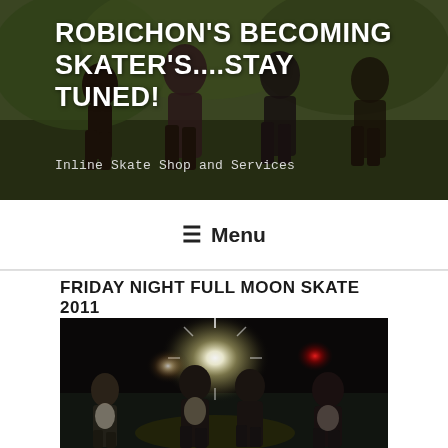ROBICHON'S BECOMING SKATER'S....STAY TUNED!
Inline Skate Shop and Services
≡ Menu
FRIDAY NIGHT FULL MOON SKATE 2011
[Figure (photo): Night photo of a group of people (skaters) standing outdoors at night with bright headlights/car lights glowing in the background and a red light visible.]